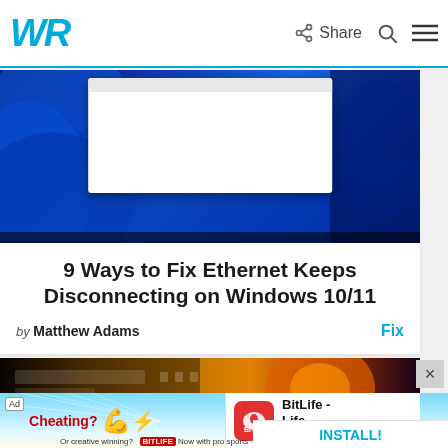WR  Share
[Figure (screenshot): Windows 11 desktop wallpaper with blue abstract wave design and a white dialog window in the center]
9 Ways to Fix Ethernet Keeps Disconnecting on Windows 10/11
by Matthew Adams   Fix
[Figure (screenshot): Dark orange/brown gradient background with a browser window screenshot]
[Figure (illustration): BitLife ad banner showing Cheating? text with flexing arm emoji, Or creative winning? text, BitLife logo, and BitLife Life Simulator app install prompt]